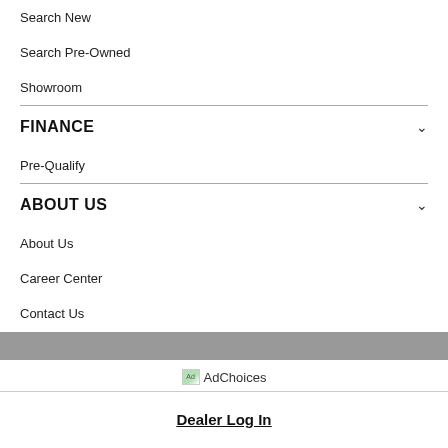Search New
Search Pre-Owned
Showroom
FINANCE
Pre-Qualify
ABOUT US
About Us
Career Center
Contact Us
Accessibility Statement
[Figure (infographic): Gray horizontal bar separator]
Ad Choices AdChoices
Dealer Log In